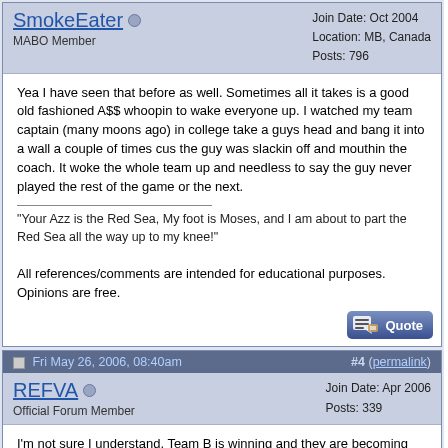SmokeEater | MABO Member | Join Date: Oct 2004 | Location: MB, Canada | Posts: 796
Yea I have seen that before as well. Sometimes all it takes is a good old fashioned A$$ whoopin to wake everyone up. I watched my team captain (many moons ago) in college take a guys head and bang it into a wall a couple of times cus the guy was slackin off and mouthin the coach. It woke the whole team up and needless to say the guy never played the rest of the game or the next.
"Your Azz is the Red Sea, My foot is Moses, and I am about to part the Red Sea all the way up to my knee!"
All references/comments are intended for educational purposes. Opinions are free.
Fri May 26, 2006, 08:40am | #4 (permalink)
REFVA | Official Forum Member | Join Date: Apr 2006 | Posts: 339
I'm not sure I understand, Team B is winning and they are becoming frustrated? Up by 18 and frustrated!